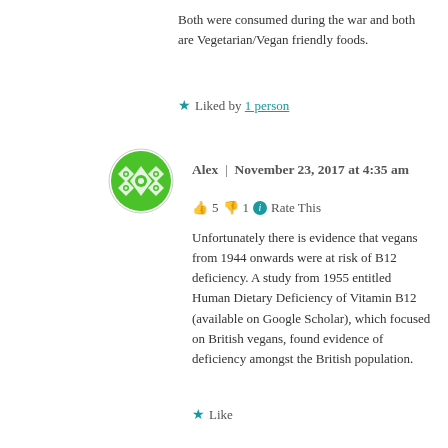Both were consumed during the war and both are Vegetarian/Vegan friendly foods.
★ Liked by 1 person
[Figure (illustration): Circular avatar with green background featuring a white diamond/geometric pattern]
Alex | November 23, 2017 at 4:35 am
👍 5 👎 1 ℹ Rate This
Unfortunately there is evidence that vegans from 1944 onwards were at risk of B12 deficiency. A study from 1955 entitled Human Dietary Deficiency of Vitamin B12 (available on Google Scholar), which focused on British vegans, found evidence of deficiency amongst the British population.
★ Like